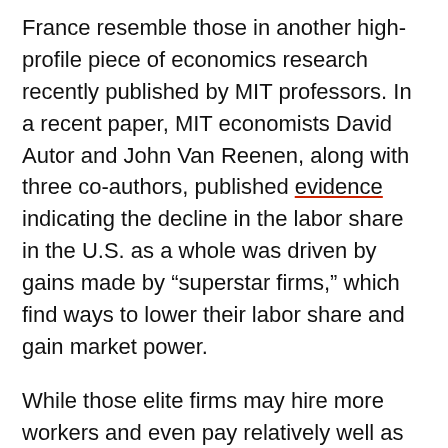France resemble those in another high-profile piece of economics research recently published by MIT professors. In a recent paper, MIT economists David Autor and John Van Reenen, along with three co-authors, published evidence indicating the decline in the labor share in the U.S. as a whole was driven by gains made by “superstar firms,” which find ways to lower their labor share and gain market power.
While those elite firms may hire more workers and even pay relatively well as they grow, labor share declines in their industries, overall.
“It’s very complementary,” Acemoglu observes about the work of Autor and Van Reenen. However, he notes, “A slight difference is that superstar firms [in the work of Autor and Van Reenen, in the U.S.] could